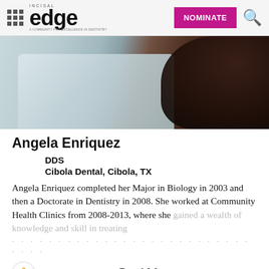INCISAL edge | NOMINATE
[Figure (photo): Profile photo of Angela Enriquez, showing torso in light blue/white top with dark curly hair visible on right side]
Angela Enriquez
DDS
Cibola Dental, Cibola, TX
Angela Enriquez completed her Major in Biology in 2003 and then a Doctorate in Dentistry in 2008. She worked at Community Health Clinics from 2008-2013, where she gained a wealth of knowledge and skill in treating
Read More